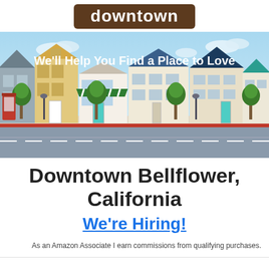downtown
[Figure (illustration): Illustrated cartoon street scene with colorful buildings, shops, trees, street lamps, a red phone booth, and a grey road with dashed white lines. White text overlay reads: We'll Help You Find a Place to Love]
Downtown Bellflower, California
We're Hiring!
As an Amazon Associate I earn commissions from qualifying purchases.